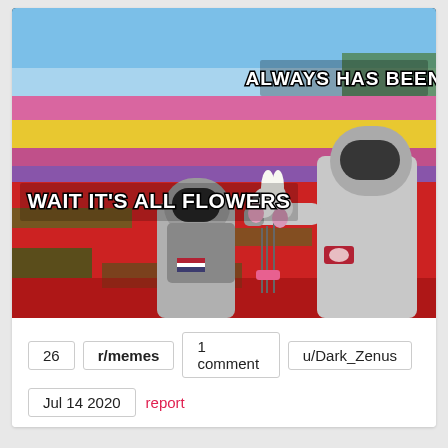[Figure (photo): Meme image showing two astronauts in a colorful flower field. Left astronaut faces away, right astronaut holds a bouquet of white and pink flowers. Text overlays: 'ALWAYS HAS BEEN' top right, 'WAIT IT'S ALL FLOWERS' lower left.]
26
r/memes
1 comment
u/Dark_Zenus
Jul 14 2020
report